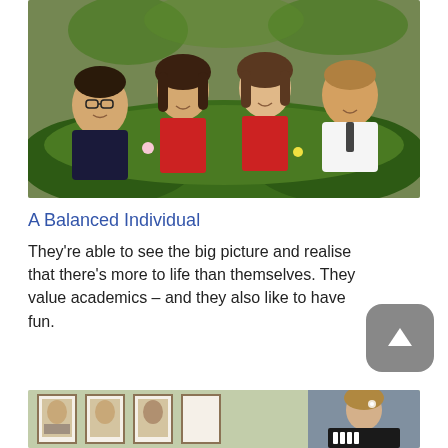[Figure (photo): Four young people smiling and holding up green leafy vines and floral garlands, dressed in formal attire, indoors with decorative wallpaper background.]
A Balanced Individual
They're able to see the big picture and realise that there's more to life than themselves. They value academics – and they also like to have fun.
[Figure (photo): Partial view of a room with framed portraits on the wall and a person visible behind what appears to be a piano or music stand.]